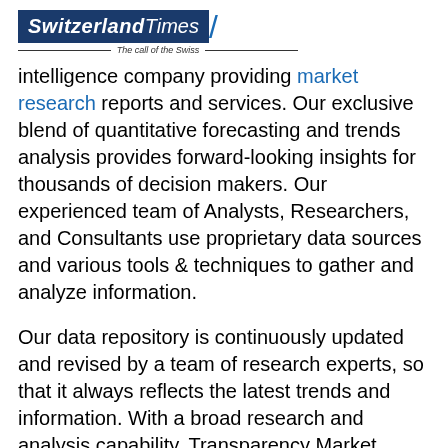Switzerland Times / The call of the Swiss
intelligence company providing market research reports and services. Our exclusive blend of quantitative forecasting and trends analysis provides forward-looking insights for thousands of decision makers. Our experienced team of Analysts, Researchers, and Consultants use proprietary data sources and various tools & techniques to gather and analyze information.
Our data repository is continuously updated and revised by a team of research experts, so that it always reflects the latest trends and information. With a broad research and analysis capability, Transparency Market Research employs rigorous primary and secondary research techniques in developing distinctive data sets and research